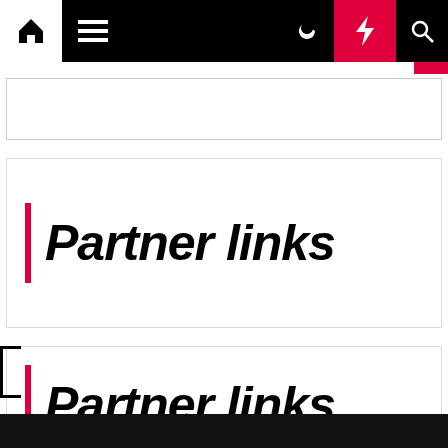Navigation bar with home, menu, moon, lightning, search icons
Partner links
Partner links
Business Loans